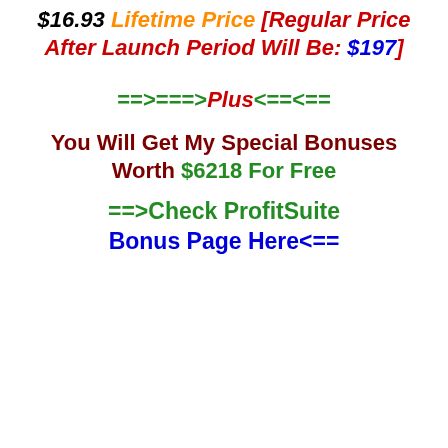$16.93 Lifetime Price [Regular Price After Launch Period Will Be: $197]
==>===>Plus<==<==
You Will Get My Special Bonuses Worth $6218 For Free
==>Check ProfitSuite Bonus Page Here<==